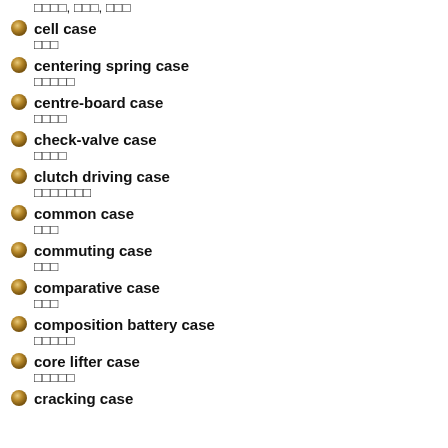□□□□, □□□, □□□
cell case / □□□
centering spring case / □□□□□
centre-board case / □□□□
check-valve case / □□□□
clutch driving case / □□□□□□□
common case / □□□
commuting case / □□□
comparative case / □□□
composition battery case / □□□□□
core lifter case / □□□□□
cracking case